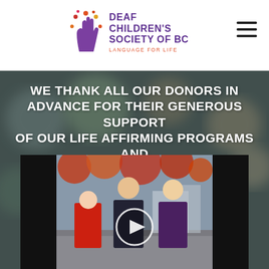[Figure (logo): Deaf Children's Society of BC logo with hand/flower icon and text 'Deaf Children's Society of BC - Language for Life']
WE THANK ALL OUR DONORS IN ADVANCE FOR THEIR GENEROUS SUPPORT OF OUR LIFE AFFIRMING PROGRAMS AND SERVICES!
[Figure (photo): Three children standing outdoors in jackets with autumn foliage background, presented as a video thumbnail with a play button overlay and black letterboxing on sides]